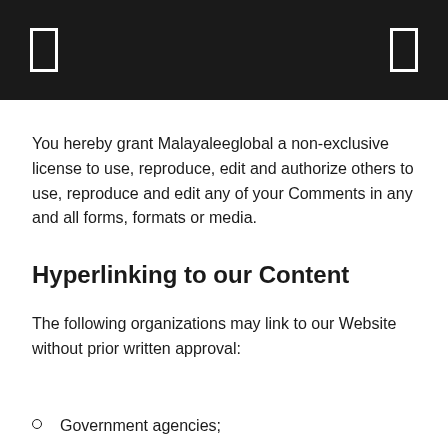You hereby grant Malayaleeglobal a non-exclusive license to use, reproduce, edit and authorize others to use, reproduce and edit any of your Comments in any and all forms, formats or media.
Hyperlinking to our Content
The following organizations may link to our Website without prior written approval:
Government agencies;